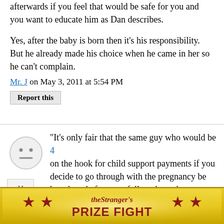afterwards if you feel that would be safe for you and you want to educate him as Dan describes.
Yes, after the baby is born then it's his responsibility. But he already made his choice when he came in her so he can't complain.
Mr. J on May 3, 2011 at 5:54 PM
Report this
"It's only fair that the same guy who would be 4 on the hook for child support payments if you decide to go through with the pregnancy be heard out before you follow through on your
[Figure (other): Anonymous user avatar - grey circle with neutral face]
[Figure (infographic): The Stranger's PRIZE FIGHT advertisement banner with gold background and red stars]